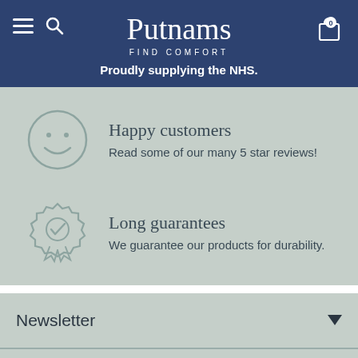Putnams FIND COMFORT — Proudly supplying the NHS.
Happy customers
Read some of our many 5 star reviews!
Long guarantees
We guarantee our products for durability.
Newsletter
More info